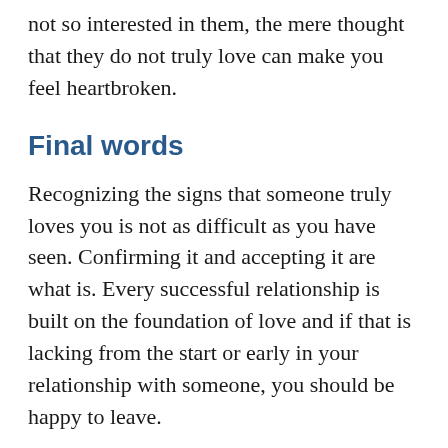not so interested in them, the mere thought that they do not truly love can make you feel heartbroken.
Final words
Recognizing the signs that someone truly loves you is not as difficult as you have seen. Confirming it and accepting it are what is. Every successful relationship is built on the foundation of love and if that is lacking from the start or early in your relationship with someone, you should be happy to leave.
Don't worry, there is someone out there who